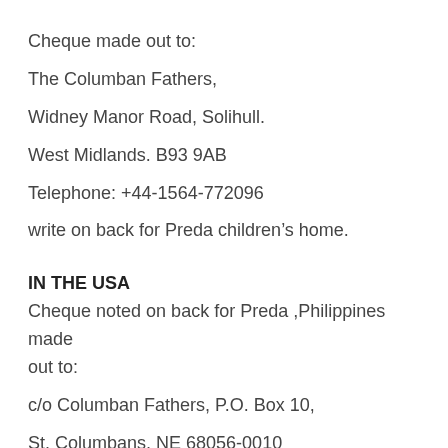Cheque made out to:
The Columban Fathers,
Widney Manor Road, Solihull.
West Midlands. B93 9AB
Telephone: +44-1564-772096
write on back for Preda children’s home.
IN THE USA
Cheque noted on back for Preda ,Philippines made out to:
c/o Columban Fathers, P.O. Box 10,
St. Columbans, NE 68056-0010
Telephone: + 1-402-291-1920